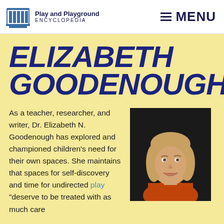Play and Playground ENCYCLOPEDIA | MENU
ELIZABETH GOODENOUGH
As a teacher, researcher, and writer, Dr. Elizabeth N. Goodenough has explored and championed children's need for their own spaces. She maintains that spaces for self-discovery and time for undirected play "deserve to be treated with as much care
[Figure (photo): Portrait photo of Dr. Elizabeth N. Goodenough, a woman with shoulder-length blonde hair, wearing an orange top, smiling against a dark background.]